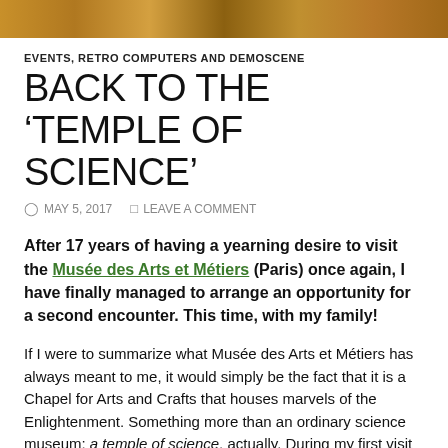[Figure (photo): Top banner image showing books or documents with warm brown/golden tones]
EVENTS, RETRO COMPUTERS AND DEMOSCENE
BACK TO THE ‘TEMPLE OF SCIENCE’
MAY 5, 2017   LEAVE A COMMENT
After 17 years of having a yearning desire to visit the Musée des Arts et Métiers (Paris) once again, I have finally managed to arrange an opportunity for a second encounter. This time, with my family!
If I were to summarize what Musée des Arts et Métiers has always meant to me, it would simply be the fact that it is a Chapel for Arts and Crafts that houses marvels of the Enlightenment. Something more than an ordinary science museum; a temple of science, actually. During my first visit in 1999, I have noticed that the Chapel has sculpted my heart